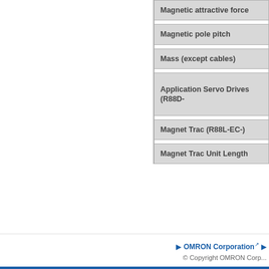| Parameter |
| --- |
| Magnetic attractive force |
| Magnetic pole pitch |
| Mass (except cables) |
| Application Servo Drives (R88D-) |
| Magnet Trac (R88L-EC-) |
| Magnet Trac Unit Length |
*1. This shows a value measured w...
*2. The Motor Coil Unit is subjected...
▶ OMRON Corporation ▶
© Copyright OMRON Corp...